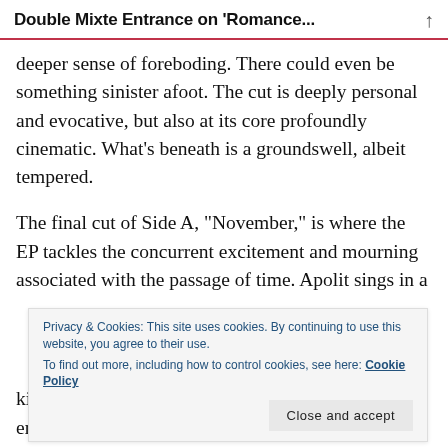Double Mixte Entrance on ‘Romance...
deeper sense of foreboding. There could even be something sinister afoot. The cut is deeply personal and evocative, but also at its core profoundly cinematic. What’s beneath is a groundswell, albeit tempered.
The final cut of Side A, “November,” is where the EP tackles the concurrent excitement and mourning associated with the passage of time. Apolit sings in a
Privacy & Cookies: This site uses cookies. By continuing to use this website, you agree to their use.
To find out more, including how to control cookies, see here: Cookie Policy
kind of static electricity. The push and pull of emotions